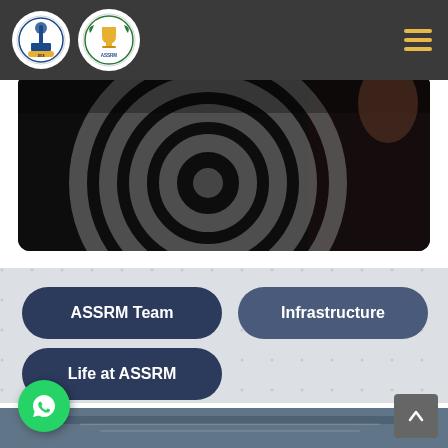ASSRM website header with two logos and hamburger menu
[Figure (photo): Dark background image showing concentric circles/target rings in white/gray on a dark surface, with a partial view of a hand in the upper right]
ASSRM Team
Infrastructure
Life at ASSRM
[Figure (photo): Bottom strip showing a blurred image of a person working on a laptop/keyboard]
[Figure (logo): WhatsApp green circle button with phone icon]
[Figure (other): Scroll to top button with up arrow]